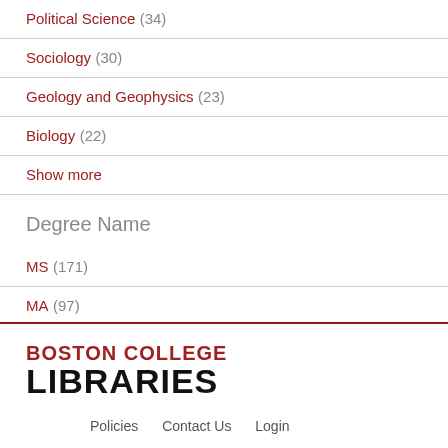Political Science (34)
Sociology (30)
Geology and Geophysics (23)
Biology (22)
Show more
Degree Name
MS (171)
MA (97)
Language
English (268)
[Figure (logo): Boston College Libraries logo with red BOSTON COLLEGE text above large black LIBRARIES text]
Policies   Contact Us   Login